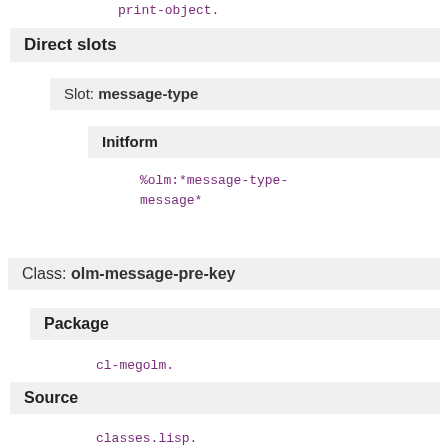print-object.
Direct slots
Slot: message-type
Initform
%olm:*message-type-message*
Class: olm-message-pre-key
Package
cl-megolm.
Source
classes.lisp.
Direct superclasses